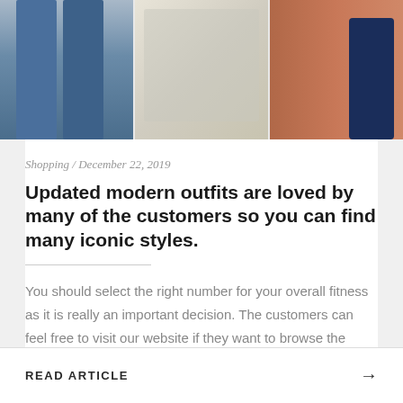[Figure (photo): Three fashion photos side by side: left shows jeans/lower body, center shows a woman in a polka dot dress holding a clutch bag, right shows dark navy pants against an orange/brick wall background.]
Shopping / December 22, 2019
Updated modern outfits are loved by many of the customers so you can find many iconic styles.
You should select the right number for your overall fitness as it is really an important decision. The customers can feel free to visit our website if they want to browse the complete collection of our products. If you sign up for more offers then it is possible to track your orders online. You can …
READ ARTICLE →